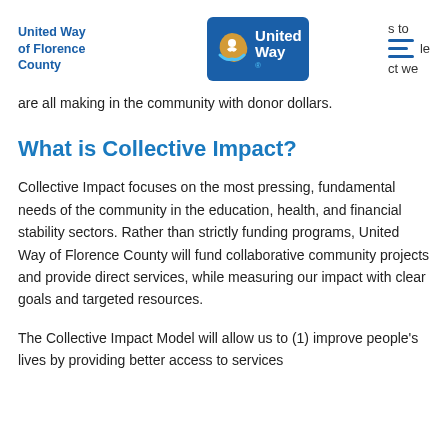United Way of Florence County
are all making in the community with donor dollars.
What is Collective Impact?
Collective Impact focuses on the most pressing, fundamental needs of the community in the education, health, and financial stability sectors. Rather than strictly funding programs, United Way of Florence County will fund collaborative community projects and provide direct services, while measuring our impact with clear goals and targeted resources.
The Collective Impact Model will allow us to (1) improve people’s lives by providing better access to services